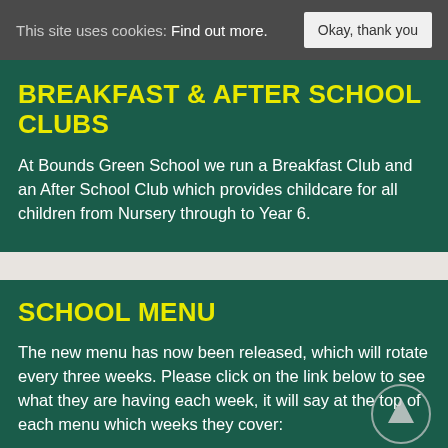This site uses cookies: Find out more.
BREAKFAST & AFTER SCHOOL CLUBS
At Bounds Green School we run a Breakfast Club and an After School Club which provides childcare for all children from Nursery through to Year 6.
SCHOOL MENU
The new menu has now been released, which will rotate every three weeks. Please click on the link below to see what they are having each week, it will say at the top of each menu which weeks they cover: